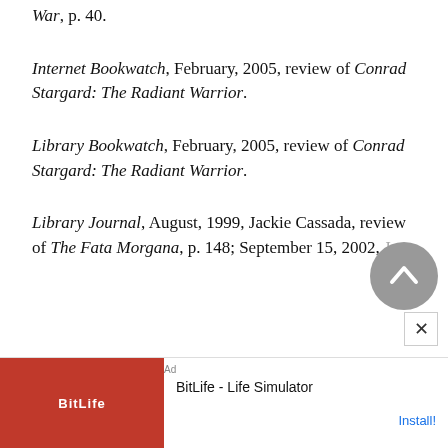War, p. 40.
Internet Bookwatch, February, 2005, review of Conrad Stargard: The Radiant Warrior.
Library Bookwatch, February, 2005, review of Conrad Stargard: The Radiant Warrior.
Library Journal, August, 1999, Jackie Cassada, review of The Fata Morgana, p. 148; September 15, 2002, Jac...
[Figure (other): Advertisement banner for BitLife - Life Simulator app with install button]